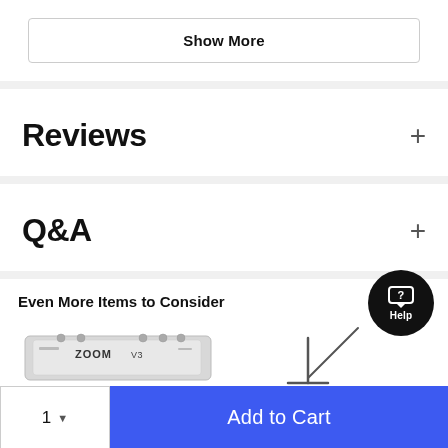Show More
Reviews
Q&A
Even More Items to Consider
[Figure (photo): Product image of a Zoom V3 device (audio interface/effects pedal)]
[Figure (photo): Product image of a microphone boom stand]
Help
1
Add to Cart